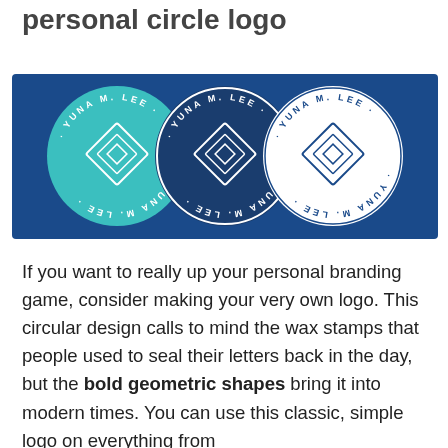personal circle logo
[Figure (illustration): Three circular personal logos for 'YUNA M. LEE' displayed on a dark blue background. Left circle has a teal/cyan fill with white text and a geometric diamond shape in the center. Middle circle has a dark navy fill with white border and white text and geometric diamond. Right circle has a white fill with dark blue text and geometric diamond.]
If you want to really up your personal branding game, consider making your very own logo. This circular design calls to mind the wax stamps that people used to seal their letters back in the day, but the bold geometric shapes bring it into modern times. You can use this classic, simple logo on everything from